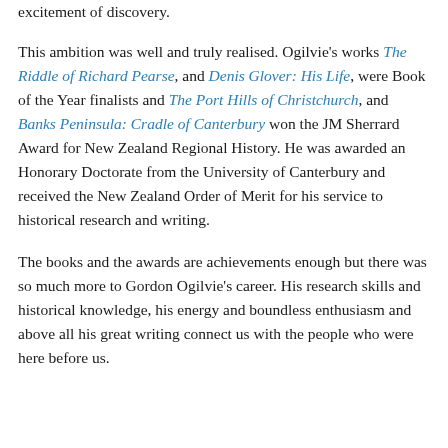excitement of discovery.
This ambition was well and truly realised. Ogilvie's works The Riddle of Richard Pearse, and Denis Glover: His Life, were Book of the Year finalists and The Port Hills of Christchurch, and Banks Peninsula: Cradle of Canterbury won the JM Sherrard Award for New Zealand Regional History. He was awarded an Honorary Doctorate from the University of Canterbury and received the New Zealand Order of Merit for his service to historical research and writing.
The books and the awards are achievements enough but there was so much more to Gordon Ogilvie's career. His research skills and historical knowledge, his energy and boundless enthusiasm and above all his great writing connect us with the people who were here before us.